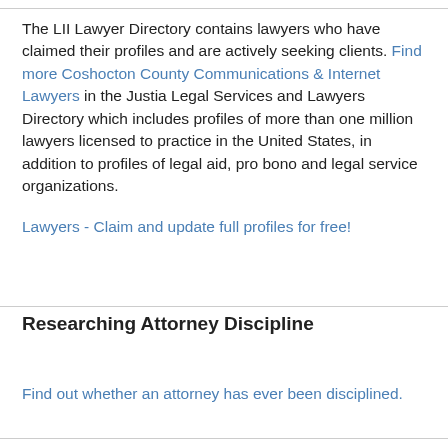The LII Lawyer Directory contains lawyers who have claimed their profiles and are actively seeking clients. Find more Coshocton County Communications & Internet Lawyers in the Justia Legal Services and Lawyers Directory which includes profiles of more than one million lawyers licensed to practice in the United States, in addition to profiles of legal aid, pro bono and legal service organizations. Lawyers - Claim and update full profiles for free!
Researching Attorney Discipline
Find out whether an attorney has ever been disciplined.